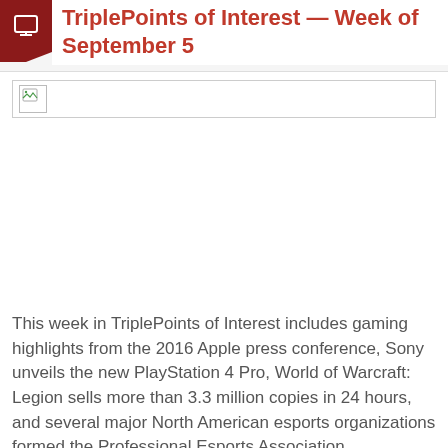TriplePoints of Interest — Week of September 5
[Figure (photo): Broken/unloaded image placeholder at top of article]
This week in TriplePoints of Interest includes gaming highlights from the 2016 Apple press conference, Sony unveils the new PlayStation 4 Pro, World of Warcraft: Legion sells more than 3.3 million copies in 24 hours, and several major North American esports organizations formed the Professional Esports Association.